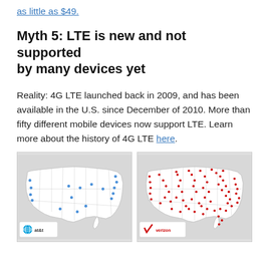as little as $49.
Myth 5: LTE is new and not supported by many devices yet
Reality: 4G LTE launched back in 2009, and has been available in the U.S. since December of 2010. More than fifty different mobile devices now support LTE. Learn more about the history of 4G LTE here.
[Figure (map): AT&T LTE coverage map of the United States showing sparse blue dot coverage mainly on the coasts and a few inland cities.]
[Figure (map): Verizon LTE coverage map of the United States showing extensive red dot coverage across the country, particularly dense in the eastern US.]